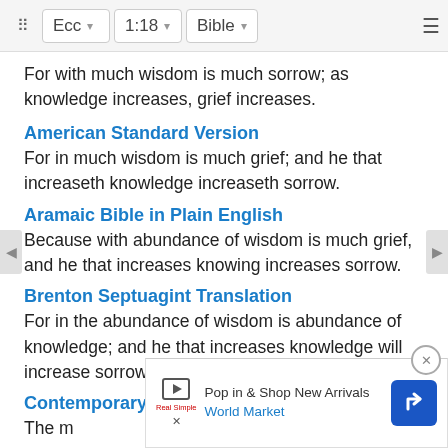Ecc  1:18  Bible
For with much wisdom is much sorrow; as knowledge increases, grief increases.
American Standard Version
For in much wisdom is much grief; and he that increaseth knowledge increaseth sorrow.
Aramaic Bible in Plain English
Because with abundance of wisdom is much grief, and he that increases knowing increases sorrow.
Brenton Septuagint Translation
For in the abundance of wisdom is abundance of knowledge; and he that increases knowledge will increase sorrow.
Contemporary English Version
The more you know, the more you hurt. [partially obscured by ad]